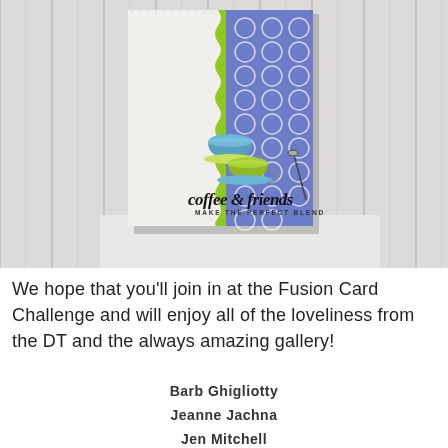[Figure (photo): A handmade greeting card propped against a white wooden plank background. The card features a white base with dot texture, a lime green scalloped strip, and a blue panel with circle pattern. Stacked teacups in blue and green are illustrated on the card. The sentiment reads 'coffee & friends MAKE THE PERFECT BLEND' in script and uppercase lettering.]
We hope that you'll join in at the Fusion Card Challenge and will enjoy all of the loveliness from the DT and the always amazing gallery!
Barb Ghigliotty
Jeanne Jachna
Jen Mitchell